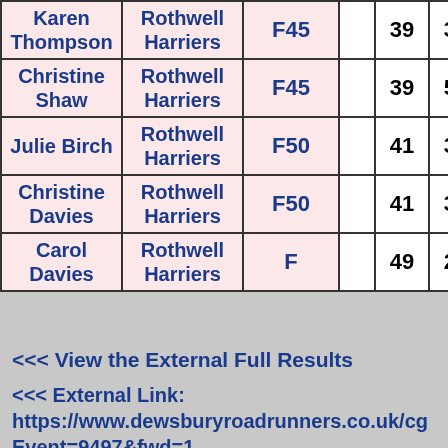| Name | Club | Category |  | Min | Sec |  |
| --- | --- | --- | --- | --- | --- | --- |
| Karen Thompson | Rothwell Harriers | F45 |  | 39 | 30 | 1 |
| Christine Shaw | Rothwell Harriers | F45 |  | 39 | 52 | 1 |
| Julie Birch | Rothwell Harriers | F50 |  | 41 | 34 | 1 |
| Christine Davies | Rothwell Harriers | F50 |  | 41 | 35 | 1 |
| Carol Davies | Rothwell Harriers | F |  | 49 | 23 | 2 |
<<< View the External Full Results
<<< External Link: https://www.dewsburyroadrunners.co.uk/cg Event=9497&fwd=1